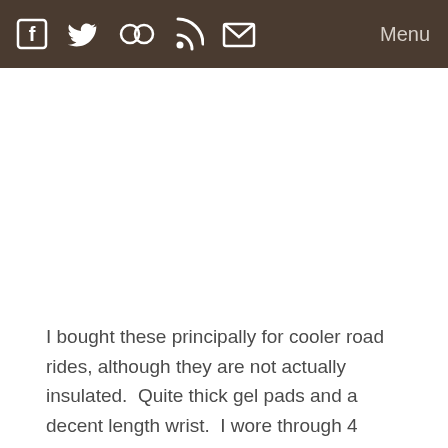Menu
I bought these principally for cooler road rides, although they are not actually insulated.  Quite thick gel pads and a decent length wrist.  I wore through 4